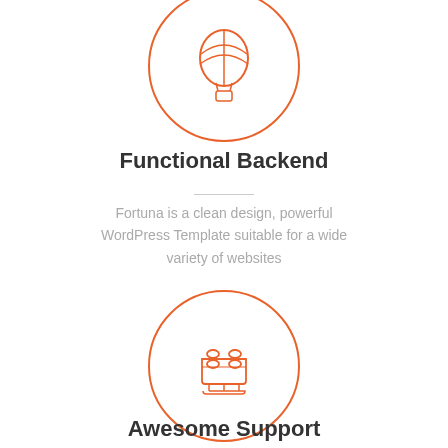[Figure (illustration): Orange outline circle containing a hot air balloon icon]
Functional Backend
Fortuna is a clean design, powerful WordPress Template suitable for a wide variety of websites
[Figure (illustration): Orange outline circle containing a lego/building block icon]
Awesome Support